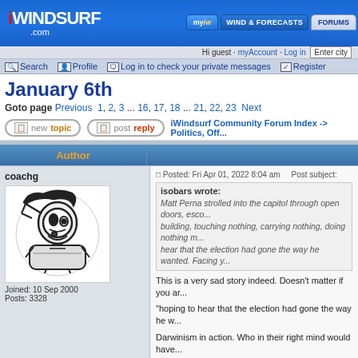iwindsurf.com
Hi guest · myAccount · Log in  Enter city
Search  Profile  Log in to check your private messages  Register
January 6th
Goto page  Previous  1, 2, 3 ... 16, 17, 18 ... 21, 22, 23  Next
new topic   post reply   iWindsurf Community Forum Index -> Politics, Off...
| Author |  |
| --- | --- |
| coachg
Joined: 10 Sep 2000
Posts: 3328 | Posted: Fri Apr 01, 2022 8:04 am   Post subject:

isobars wrote:
Matt Perna strolled into the capitol through open doors, esco... building, touching nothing, carrying nothing, doing nothing m... hear that the election had gone the way he wanted. Facing y...

This is a very sad story indeed. Doesn't matter if you ar...

"hoping to hear that the election had gone the way he w...

Darwinism in action. Who in their right mind would have... company wisely. If you hang around shit you are going t...

Coachg |